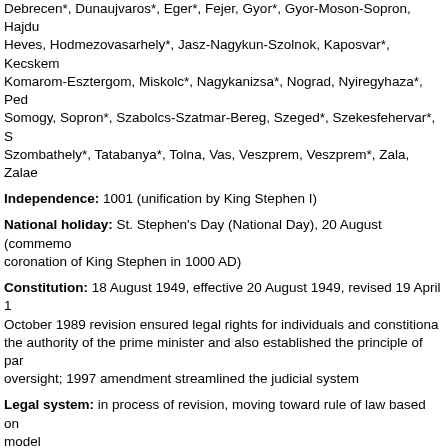Debrecen*, Dunaujvaros*, Eger*, Fejer, Gyor*, Gyor-Moson-Sopron, Hajdu Heves, Hodmezovasarhely*, Jasz-Nagykun-Szolnok, Kaposvar*, Kecskem Komarom-Esztergom, Miskolc*, Nagykanizsa*, Nograd, Nyiregyhaza*, Ped Somogy, Sopron*, Szabolcs-Szatmar-Bereg, Szeged*, Szekesfehervar*, S Szombathely*, Tatabanya*, Tolna, Vas, Veszprem, Veszprem*, Zala, Zalae
Independence: 1001 (unification by King Stephen I)
National holiday: St. Stephen's Day (National Day), 20 August (commemo coronation of King Stephen in 1000 AD)
Constitution: 18 August 1949, effective 20 August 1949, revised 19 April 1 October 1989 revision ensured legal rights for individuals and constitiona the authority of the prime minister and also established the principle of par oversight; 1997 amendment streamlined the judicial system
Legal system: in process of revision, moving toward rule of law based on model
Suffrage: 18 years of age; universal
Executive branch:
chief of state: Ferenc MADL (since NA August 2000)
head of government : Prime Minister Peter MEDGYESSY (since 27 May 2
cabinet: Council of Ministers elected by the National Assembly on the reco of the president
elections:president elected by the National Assembly for a five-year term; e held 6 June 2000 (next to be held by June 2005); prime minister elected by National Assembly on the recommendation of the president
election results:Ferenc MADL elected president; percent of legislative vote by a simple majority in the third round of voting); Peter MEDGYESSY elect